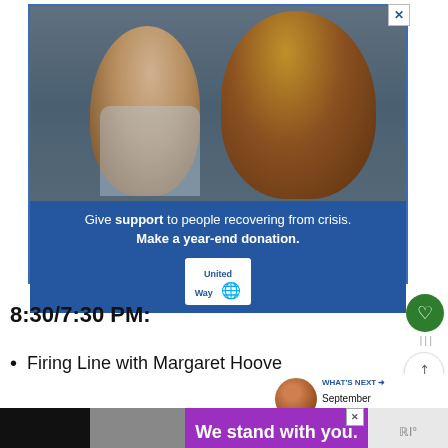[Figure (photo): Advertisement for United Way showing a mother kissing a child on the head with blue background text: Give support to people recovering from crisis. Make a year-end donation. United Way logo.]
8:30/7:30 PM:
Firing Line with Margaret Hoove...
[Figure (screenshot): WHAT'S NEXT arrow. September 2022 TV and... with a thumbnail image of people.]
[Figure (photo): Bottom advertisement banner: black and gray on left, purple on right with text 'We stand with you.' Close button visible. Small icon on far right.]